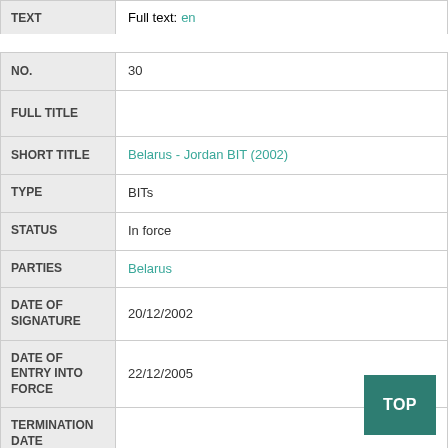|  |  |
| --- | --- |
| TEXT | Full text: en |
| Field | Value |
| --- | --- |
| NO. | 30 |
| FULL TITLE |  |
| SHORT TITLE | Belarus - Jordan BIT (2002) |
| TYPE | BITs |
| STATUS | In force |
| PARTIES | Belarus |
| DATE OF SIGNATURE | 20/12/2002 |
| DATE OF ENTRY INTO FORCE | 22/12/2005 |
| TERMINATION DATE |  |